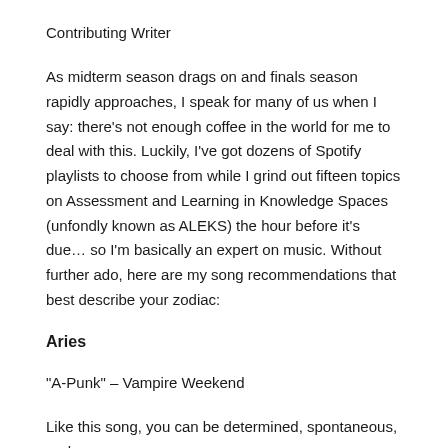Contributing Writer
As midterm season drags on and finals season rapidly approaches, I speak for many of us when I say: there’s not enough coffee in the world for me to deal with this. Luckily, I’ve got dozens of Spotify playlists to choose from while I grind out fifteen topics on Assessment and Learning in Knowledge Spaces (unfondly known as ALEKS) the hour before it’s due… so I’m basically an expert on music. Without further ado, here are my song recommendations that best describe your zodiac:
Aries
“A-Punk” – Vampire Weekend
Like this song, you can be determined, spontaneous, and